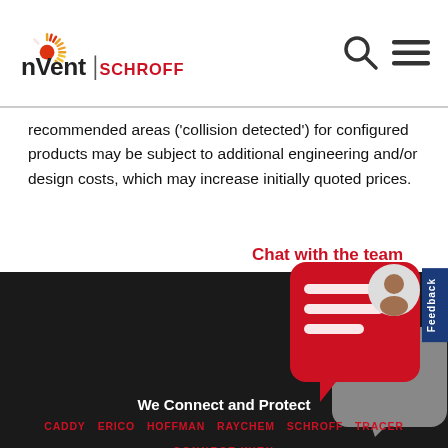[Figure (logo): nVent SCHROFF logo with stylized sun/burst icon, brand name in black and red]
recommended areas ('collision detected') for configured products may be subject to additional engineering and/or design costs, which may increase initially quoted prices.
[Figure (illustration): Chat with the team button and chat widget with person avatar icon on dark background]
We Connect and Protect
CADDY  ERICO  HOFFMAN  RAYCHEM  SCHROFF  TRACER
CONNECT WITH
[Figure (illustration): Social media icons: Facebook, Twitter, LinkedIn, YouTube]